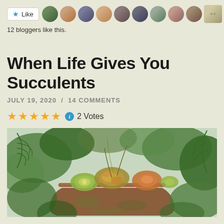[Figure (other): Like button with star icon followed by a strip of blogger avatar thumbnails]
12 bloggers like this.
When Life Gives You Succulents
JULY 19, 2020  /  14 COMMENTS
★★★★★  ℹ  2 Votes
[Figure (photo): Photo of a weathered terracotta pot overflowing with various succulents and surrounded by ferns and leafy plants]